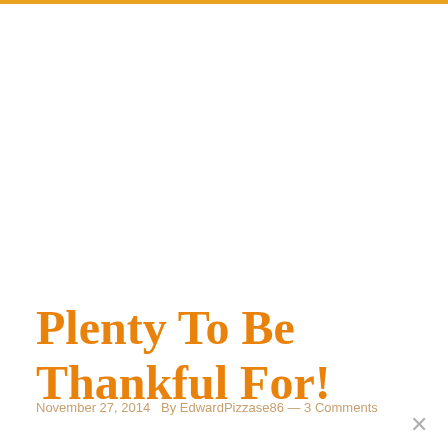Plenty To Be Thankful For!
November 27, 2014   By EdwardPizzase86 — 3 Comments